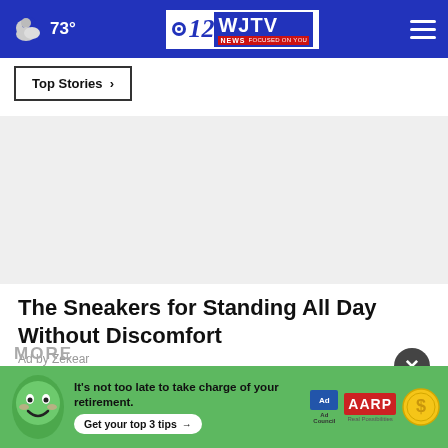73° | WJTV News Channel 2 - Focused On You
Top Stories ›
[Figure (screenshot): Empty white/grey ad space placeholder area]
The Sneakers for Standing All Day Without Discomfort
Ad by Zekear
MORE
[Figure (infographic): AARP advertisement banner: green background with cartoon face, text reading 'It's not too late to take charge of your retirement. Get your top 3 tips →' with Ad Council and AARP logos and a coin graphic.]